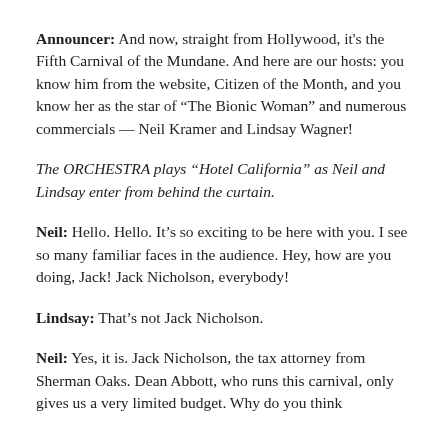Announcer:  And now, straight from Hollywood, it's the Fifth Carnival of the Mundane.   And here are our hosts: you know him from the website, Citizen of the Month, and you know her as the star of "The Bionic Woman" and numerous commercials — Neil Kramer and Lindsay Wagner!
The ORCHESTRA plays “Hotel California” as Neil and Lindsay enter from behind the curtain.
Neil:  Hello.  Hello.  It’s so exciting to be here with you.  I see so many familiar faces in the audience.  Hey, how are you doing, Jack!   Jack Nicholson, everybody!
Lindsay:  That’s not Jack Nicholson.
Neil:  Yes, it is.  Jack Nicholson, the tax attorney from Sherman Oaks.   Dean Abbott, who runs this carnival, only gives us a very limited budget.  Why do you think